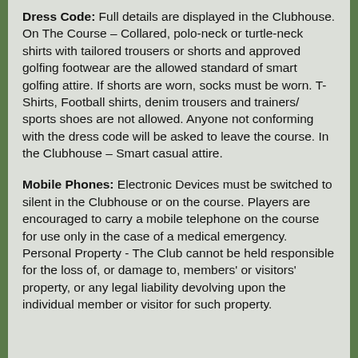Dress Code: Full details are displayed in the Clubhouse. On The Course – Collared, polo-neck or turtle-neck shirts with tailored trousers or shorts and approved golfing footwear are the allowed standard of smart golfing attire. If shorts are worn, socks must be worn. T-Shirts, Football shirts, denim trousers and trainers/ sports shoes are not allowed. Anyone not conforming with the dress code will be asked to leave the course. In the Clubhouse – Smart casual attire.
Mobile Phones: Electronic Devices must be switched to silent in the Clubhouse or on the course. Players are encouraged to carry a mobile telephone on the course for use only in the case of a medical emergency. Personal Property - The Club cannot be held responsible for the loss of, or damage to, members' or visitors' property, or any legal liability devolving upon the individual member or visitor for such property.